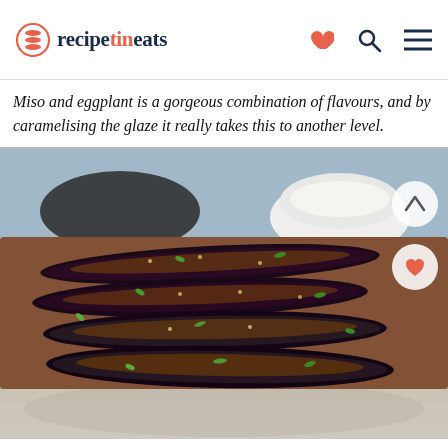recipetineats
Miso and eggplant is a gorgeous combination of flavours, and by caramelising the glaze it really takes this to another level.
[Figure (photo): Miso glazed eggplant halves topped with sliced green onions, arranged on a wooden cutting board with bowls in background]